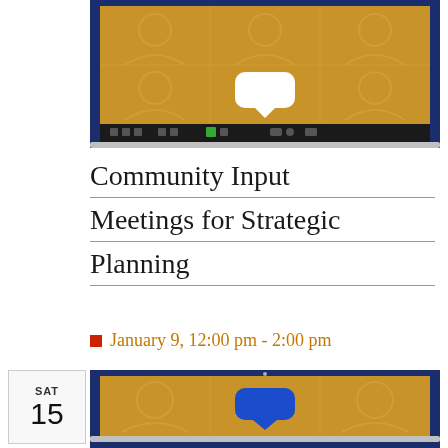[Figure (illustration): Illustration of a laptop screen showing a video conference with multiple silhouetted participants on a golden/tan background, a white speech bubble in the center, and a dark blue border. Bottom toolbar visible with meeting controls.]
Community Input Meetings for Strategic Planning
January 9, 12:00 pm - 2:00 pm
[Figure (illustration): Illustration of a laptop screen showing a video conference with silhouetted participants on a golden/tan background and a blue speech bubble, dark navy border. Partial view at bottom of page.]